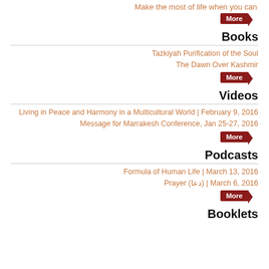Make the most of life when you can
More
Books
Tazkiyah Purification of the Soul
The Dawn Over Kashmir
More
Videos
Living in Peace and Harmony in a Multicultural World | February 9, 2016
Message for Marrakesh Conference, Jan 25-27, 2016
More
Podcasts
Formula of Human Life | March 13, 2016
Prayer (دعا) | March 6, 2016
More
Booklets